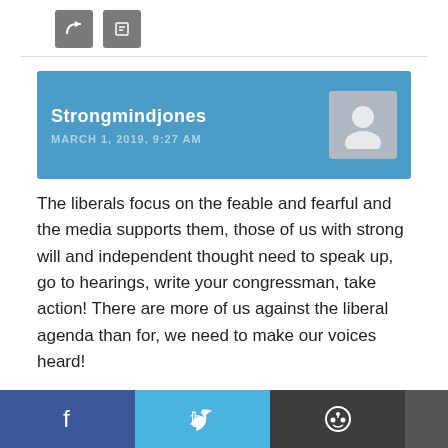[Figure (other): Two small icon buttons (reply and share) at top]
[Figure (other): Comment author header box: username Strongmindjones, date MARCH 1, 2019, 9:27 AM, avatar placeholder]
The liberals focus on the feable and fearful and the media supports them, those of us with strong will and independent thought need to speak up, go to hearings, write your congressman, take action! There are more of us against the liberal agenda than for, we need to make our voices heard!
[Figure (other): Two small icon buttons (reply and share) at bottom]
[Figure (other): Social sharing bar with Facebook, Twitter, Reddit, Email buttons]